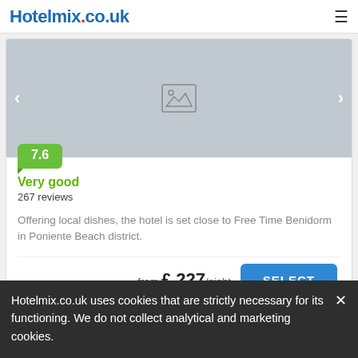Hotelmix.co.uk
[Figure (photo): Hotel photo placeholder image with left/right navigation arrows and a 7.6 score badge]
Very good
267 reviews
Offering local dishes, the hotel is set close to Free Time Benidorm in Poniente Beach district.
from £ 227/night
La Estacion Hotel Benidorm
Hotelmix.co.uk uses cookies that are strictly necessary for its functioning. We do not collect analytical and marketing cookies.